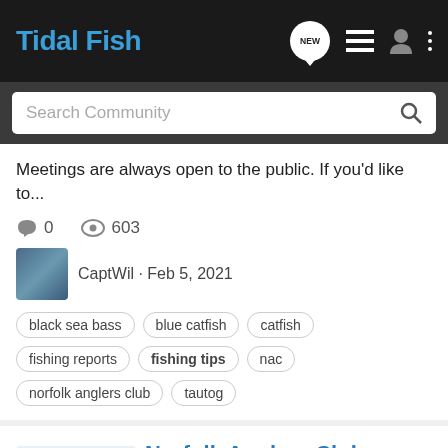Tidal Fish
Search Community
Meetings are always open to the public. If you'd like to...
0  603
CaptWil · Feb 5, 2021
black sea bass
blue catfish
catfish
fishing reports
fishing tips
nac
norfolk anglers club
tautog
Good Information  Norfolk Anglers Club Meeting Monday 7:00pm on Zoom: Guest Speaker topic is James River Blue Catfish
Virginia Angler
Fellow Anglers, We've got Captain Scott Cannon with Big Cat Guide Service joining us for our February 8th meeting. Big Cat Guide Service specializes in fishing the big Blue...